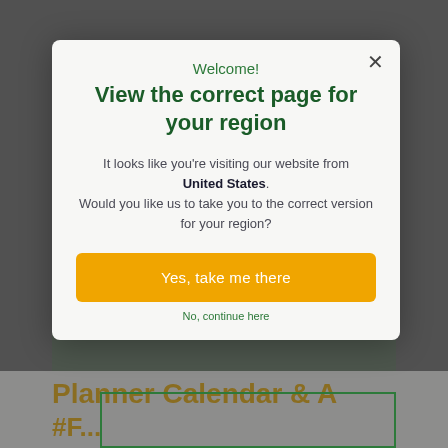[Figure (screenshot): Dimmed background showing Phorest website with logo, navigation, green hero image area, and partial page text 'Planner Calendar & A #F...' in orange/yellow bold font]
Welcome!
View the correct page for your region
It looks like you're visiting our website from United States. Would you like us to take you to the correct version for your region?
Yes, take me there
No, continue here